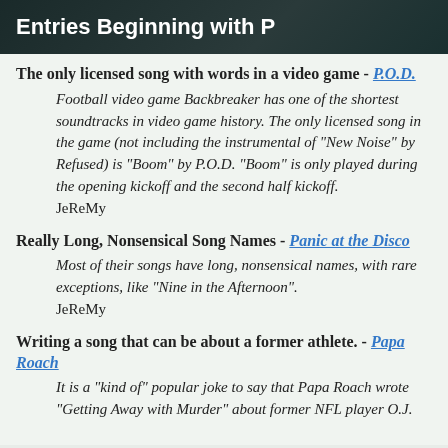Entries Beginning with P
The only licensed song with words in a video game - P.O.D.
Football video game Backbreaker has one of the shortest soundtracks in video game history. The only licensed song in the game (not including the instrumental of "New Noise" by Refused) is "Boom" by P.O.D. "Boom" is only played during the opening kickoff and the second half kickoff.
JeReMy
Really Long, Nonsensical Song Names - Panic at the Disco
Most of their songs have long, nonsensical names, with rare exceptions, like "Nine in the Afternoon".
JeReMy
Writing a song that can be about a former athlete. - Papa Roach
It is a "kind of" popular joke to say that Papa Roach wrote "Getting Away with Murder" about former NFL player O.J.